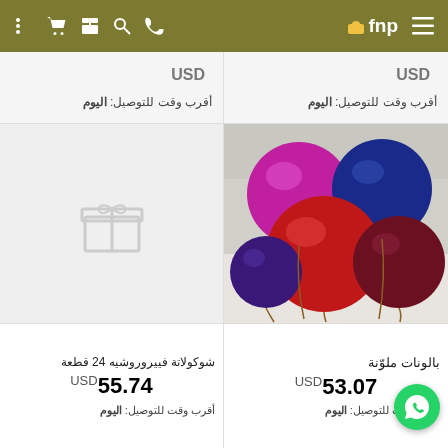fnp navigation bar with cart, gift, search, phone icons and hamburger menu
USD (partial, cropped)
USD (partial, cropped)
أقرب وقت للتوصيل: اليوم
أقرب وقت للتوصيل: اليوم
[Figure (photo): Gray placeholder box with a light gray gift box icon in the center]
[Figure (photo): Photo of colorful metallic foil balloons: purple/magenta, dark blue, red, maroon, dark purple, arranged in a bunch against a white brick wall background]
شوكولاتة فييروروشيه 24 قطعة
USD 55.74
بالونات ملوّنة
USD 53.07
أقرب وقت للتوصيل: اليوم
أقرب وقت للتوصيل: اليوم